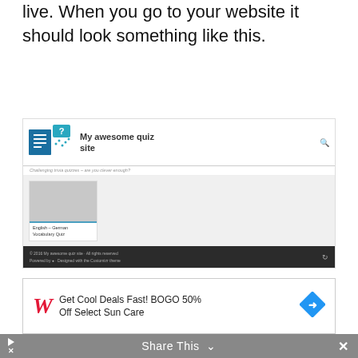live. When you go to your website it should look something like this.
[Figure (screenshot): Screenshot of a WordPress quiz website named 'My awesome quiz site' with tagline 'Challenging trivia quizzes - are you clever enough?', showing a quiz card labeled 'English - German Vocabulary Quiz' with a dark footer bar showing copyright info.]
[Figure (screenshot): Walgreens advertisement banner: 'Get Cool Deals Fast! BOGO 50% Off Select Sun Care' with Walgreens cursive W logo and blue diamond arrow icon.]
Share This